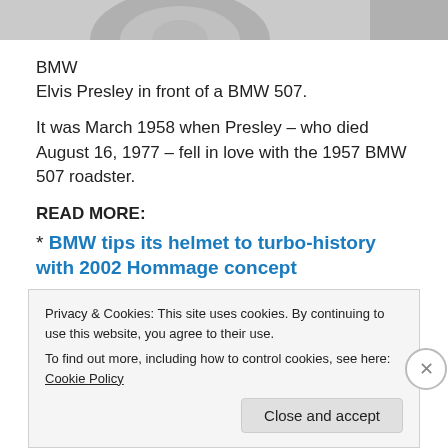[Figure (photo): Partial view of a black and white photograph showing a car tire/wheel area, likely a BMW 507.]
BMW
Elvis Presley in front of a BMW 507.
It was March 1958 when Presley – who died August 16, 1977 – fell in love with the 1957 BMW 507 roadster.
READ MORE:
* BMW tips its helmet to turbo-history with 2002 Hommage concept
* BMW reveals modern day 3.0 CSL Batmobile
Privacy & Cookies: This site uses cookies. By continuing to use this website, you agree to their use.
To find out more, including how to control cookies, see here: Cookie Policy